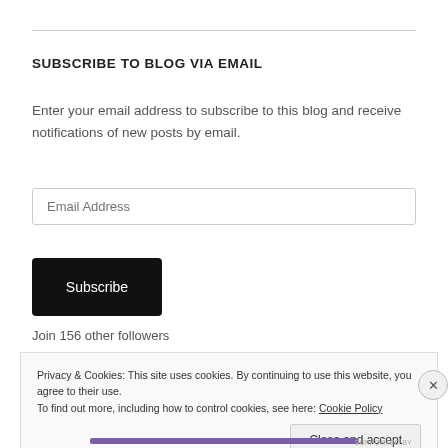SUBSCRIBE TO BLOG VIA EMAIL
Enter your email address to subscribe to this blog and receive notifications of new posts by email.
Email Address
Subscribe
Join 156 other followers
Privacy & Cookies: This site uses cookies. By continuing to use this website, you agree to their use.
To find out more, including how to control cookies, see here: Cookie Policy
Close and accept